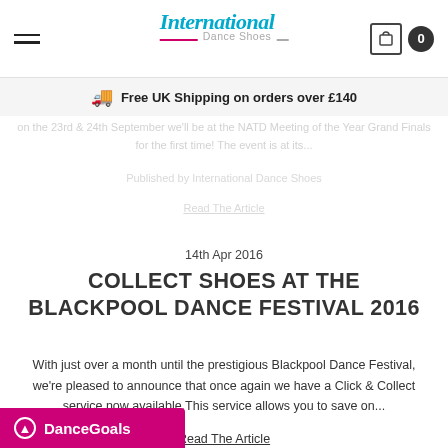International Dance Shoes — Navigation header with hamburger menu, logo, cart icon and counter (0)
Free UK Shipping on orders over £140
on the 23rd & 24th September we'll be at the NATD Meeting of the Year Grand Finals for the first time! The event is at its...
Published by International Dance Shoes
Read The Article
14th Apr 2016
COLLECT SHOES AT THE BLACKPOOL DANCE FESTIVAL 2016
With just over a month until the prestigious Blackpool Dance Festival, we're pleased to announce that once again we have a Click & Collect service now available.This service allows you to save on...
Read The Article
DanceGoals